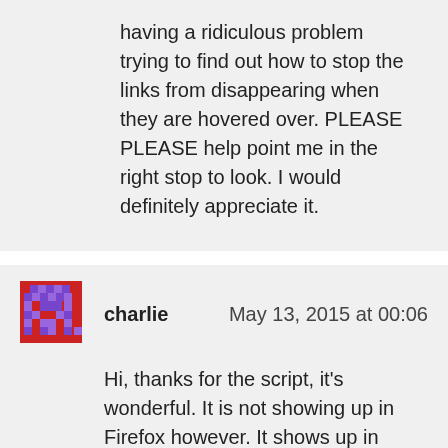having a ridiculous problem trying to find out how to stop the links from disappearing when they are hovered over. PLEASE PLEASE help point me in the right stop to look. I would definitely appreciate it.
charlie    May 13, 2015 at 00:06
[Figure (illustration): Pixel art avatar icon with red and purple colors, resembling a retro game sprite]
Hi, thanks for the script, it's wonderful. It is not showing up in Firefox however. It shows up in other browsers but for some reason it's there but not visible in